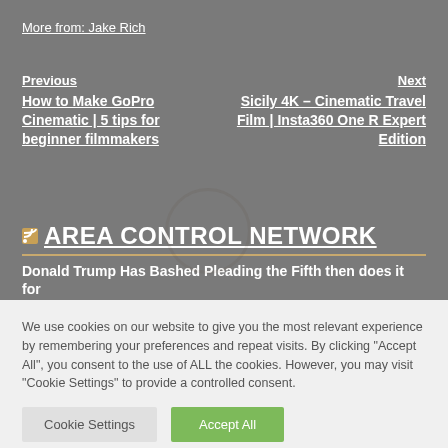More from: Jake Rich
Previous
How to Make GoPro Cinematic | 5 tips for beginner filmmakers
Next
Sicily 4K – Cinematic Travel Film | Insta360 One R Expert Edition
AREA CONTROL NETWORK
Donald Trump Has Bashed Pleading the Fifth then does it for
We use cookies on our website to give you the most relevant experience by remembering your preferences and repeat visits. By clicking "Accept All", you consent to the use of ALL the cookies. However, you may visit "Cookie Settings" to provide a controlled consent.